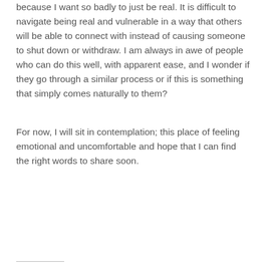because I want so badly to just be real. It is difficult to navigate being real and vulnerable in a way that others will be able to connect with instead of causing someone to shut down or withdraw. I am always in awe of people who can do this well, with apparent ease, and I wonder if they go through a similar process or if this is something that simply comes naturally to them?
For now, I will sit in contemplation; this place of feeling emotional and uncomfortable and hope that I can find the right words to share soon.